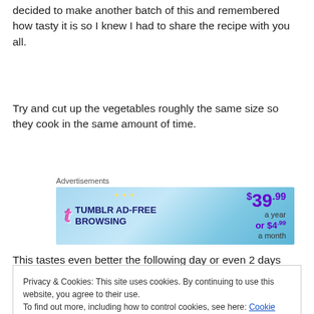decided to make another batch of this and remembered how tasty it is so I knew I had to share the recipe with you all.
Try and cut up the vegetables roughly the same size so they cook in the same amount of time.
[Figure (other): Tumblr Ad-Free Browsing advertisement banner showing $39.99 a year or $4.99 a month]
This tastes even better the following day or even 2 days
Privacy & Cookies: This site uses cookies. By continuing to use this website, you agree to their use.
To find out more, including how to control cookies, see here: Cookie Policy